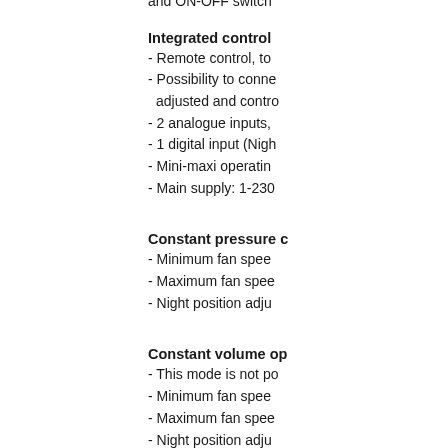and ON-OFF switch
Integrated control
- Remote control, to
- Possibility to connect
adjusted and controlled
- 2 analogue inputs,
- 1 digital input (Night
- Mini-maxi operating
- Main supply: 1-230
Constant pressure c
- Minimum fan speed
- Maximum fan speed
- Night position adju
Constant volume op
- This mode is not po
- Minimum fan speed
- Maximum fan speed
- Night position adju
Proportional operat
- 2 analogue inputs f
- The control operate
- Minimum fan speed